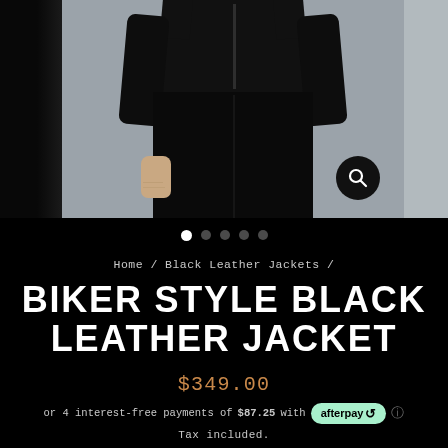[Figure (photo): Product photo of a person wearing a biker style black leather jacket and black leather pants, shown from neck to below waist. Three-panel layout: left edge shows sleeve detail, center is the main product shot on grey background, right edge is partially cropped.]
Home / Black Leather Jackets /
BIKER STYLE BLACK LEATHER JACKET
$349.00
or 4 interest-free payments of $87.25 with afterpay ℹ
Tax included.